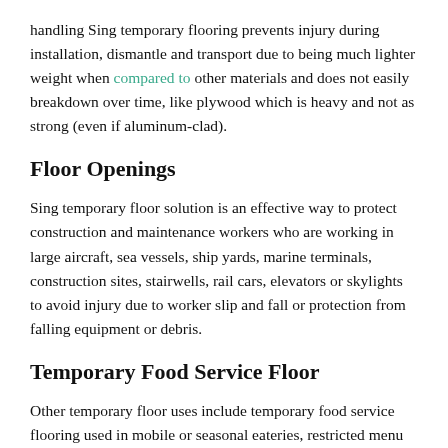handling Sing temporary flooring prevents injury during installation, dismantle and transport due to being much lighter weight when compared to other materials and does not easily breakdown over time, like plywood which is heavy and not as strong (even if aluminum-clad).
Floor Openings
Sing temporary floor solution is an effective way to protect construction and maintenance workers who are working in large aircraft, sea vessels, ship yards, marine terminals, construction sites, stairwells, rail cars, elevators or skylights to avoid injury due to worker slip and fall or protection from falling equipment or debris.
Temporary Food Service Floor
Other temporary floor uses include temporary food service flooring used in mobile or seasonal eateries, restricted menu